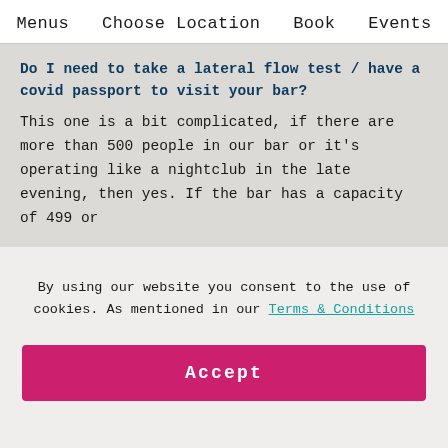Menus   Choose Location   Book   Events
Do I need to take a lateral flow test / have a covid passport to visit your bar?
This one is a bit complicated, if there are more than 500 people in our bar or it's operating like a nightclub in the late evening, then yes. If the bar has a capacity of 499 or
By using our website you consent to the use of cookies. As mentioned in our Terms & Conditions
Accept